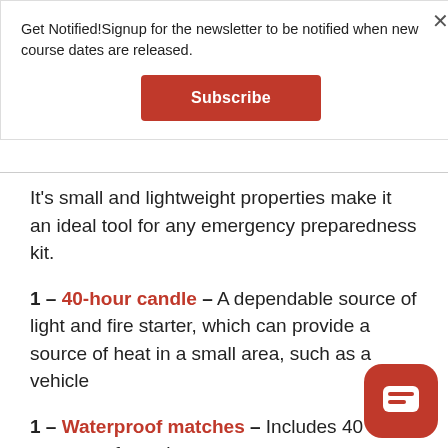Get Notified!Signup for the newsletter to be notified when new course dates are released.
Subscribe
It's small and lightweight properties make it an ideal tool for any emergency preparedness kit.
1 – 40-hour candle – A dependable source of light and fire starter, which can provide a source of heat in a small area, such as a vehicle
1 – Waterproof matches – Includes 40 waterproof matches